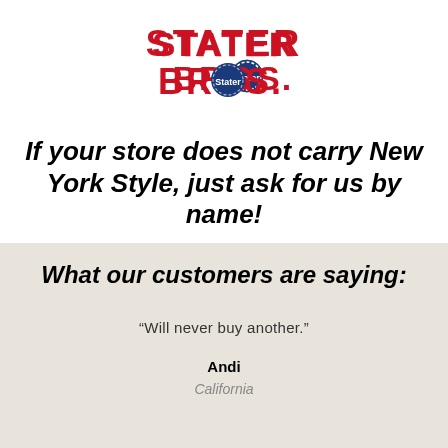[Figure (logo): Stater Bros. logo in red and blue text with a circular emblem in the center of the O]
If your store does not carry New York Style, just ask for us by name!
What our customers are saying:
“Will never buy another.”
Andi
California